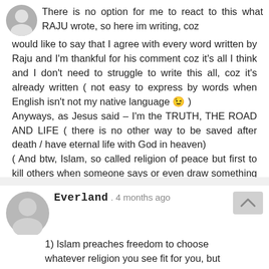There is no option for me to react to this what RAJU wrote, so here im writing, coz would like to say that I agree with every word written by Raju and I'm thankful for his comment coz it's all I think and I don't need to struggle to write this all, coz it's already written ( not easy to express by words when English isn't not my native language 😉 )
Anyways, as Jesus said – I'm the TRUTH, THE ROAD AND LIFE ( there is no other way to be saved after death / have eternal life with God in heaven)
( And btw, Islam, so called religion of peace but first to kill others when someone says or even draw something related with their so called prophet)
Everland . 4 months ago
1) Islam preaches freedom to choose whatever religion you see fit for you, but prohibits muslims converting to christianity. Muslims